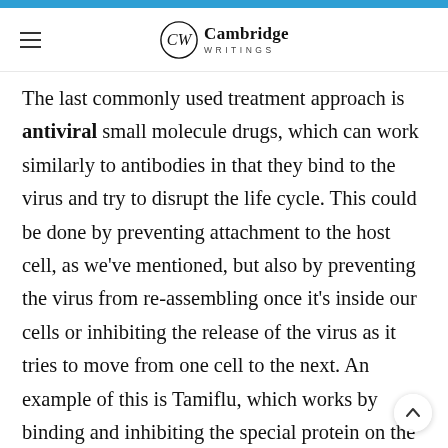Cambridge Writings
The last commonly used treatment approach is antiviral small molecule drugs, which can work similarly to antibodies in that they bind to the virus and try to disrupt the life cycle. This could be done by preventing attachment to the host cell, as we’ve mentioned, but also by preventing the virus from re-assembling once it’s inside our cells or inhibiting the release of the virus as it tries to move from one cell to the next. An example of this is Tamiflu, which works by binding and inhibiting the special protein on the flu virus that allows new viral particles to exit our cells (neuraminidase). A benefit of small